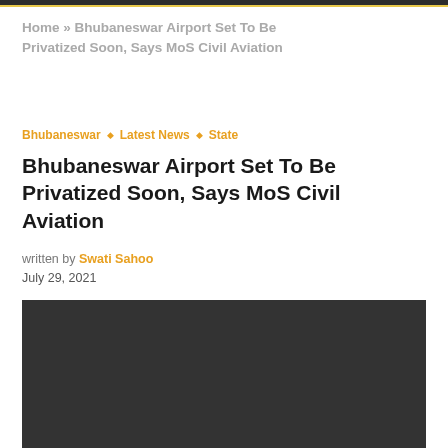Home » Bhubaneswar Airport Set To Be Privatized Soon, Says MoS Civil Aviation
Bhubaneswar ◇ Latest News ◇ State
Bhubaneswar Airport Set To Be Privatized Soon, Says MoS Civil Aviation
written by Swati Sahoo
July 29, 2021
[Figure (photo): Dark image placeholder for article photo related to Bhubaneswar Airport privatization]